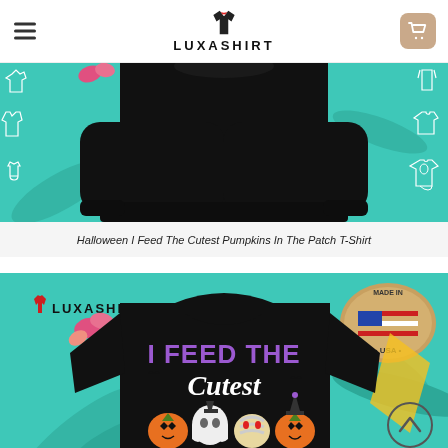[Figure (logo): Luxashirt logo with shirt icon and brand name]
[Figure (photo): Person wearing black sweatshirt on teal background with clothing style icons on sides - Halloween I Feed The Cutest Pumpkins In The Patch product]
Halloween I Feed The Cutest Pumpkins In The Patch T-Shirt
[Figure (photo): Person wearing black t-shirt with Halloween text 'I FEED THE Cutest' in purple and white lettering, with pumpkin and ghost graphics, on teal background with LUXASHIRT branding and Made in USA badge]